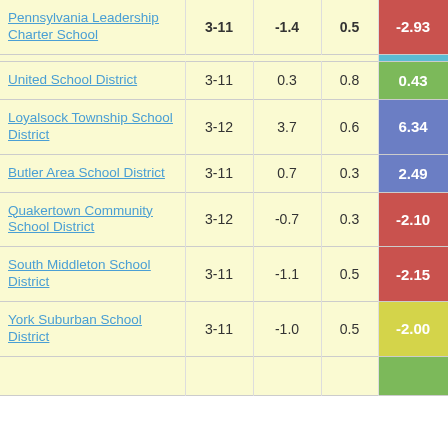| School/District | Grades | Col3 | Col4 | Score |
| --- | --- | --- | --- | --- |
| Pennsylvania Leadership Charter School | 3-11 | -1.4 | 0.5 | -2.93 |
| United School District | 3-11 | 0.3 | 0.8 | 0.43 |
| Loyalsock Township School District | 3-12 | 3.7 | 0.6 | 6.34 |
| Butler Area School District | 3-11 | 0.7 | 0.3 | 2.49 |
| Quakertown Community School District | 3-12 | -0.7 | 0.3 | -2.10 |
| South Middleton School District | 3-11 | -1.1 | 0.5 | -2.15 |
| York Suburban School District | 3-11 | -1.0 | 0.5 | -2.00 |